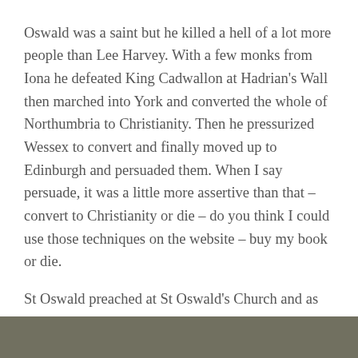Oswald was a saint but he killed a hell of a lot more people than Lee Harvey. With a few monks from Iona he defeated King Cadwallon at Hadrian's Wall then marched into York and converted the whole of Northumbria to Christianity. Then he pressurized Wessex to convert and finally moved up to Edinburgh and persuaded them. When I say persuade, it was a little more assertive than that – convert to Christianity or die – do you think I could use those techniques on the website – buy my book or die.
St Oswald preached at St Oswald's Church and as he was leaving you know exactly what he said 'Name this church after me or die.' He was very persuasive.
[Figure (photo): Partial view of a photo strip at the bottom of the page, showing an outdoor or landscape scene in muted tones.]